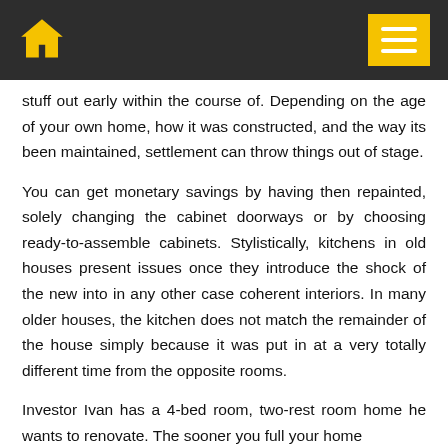Home icon and menu navigation bar
stuff out early within the course of. Depending on the age of your own home, how it was constructed, and the way its been maintained, settlement can throw things out of stage.
You can get monetary savings by having then repainted, solely changing the cabinet doorways or by choosing ready-to-assemble cabinets. Stylistically, kitchens in old houses present issues once they introduce the shock of the new into in any other case coherent interiors. In many older houses, the kitchen does not match the remainder of the house simply because it was put in at a very totally different time from the opposite rooms.
Investor Ivan has a 4-bed room, two-rest room home he wants to renovate. The sooner you full your home